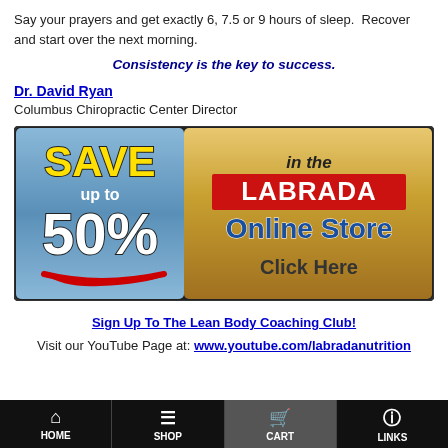Say your prayers and get exactly 6, 7.5 or 9 hours of sleep. Recover and start over the next morning.
Consistency is the key to success.
Dr. David Ryan
Columbus Chiropractic Center Director
[Figure (advertisement): Labrada Online Store banner ad: Save up to 50% in the Labrada Online Store, Click Here]
Sign Up To The Lean Body Coaching Club!
Visit our YouTube Page at: www.youtube.com/labradanutrition
HOME | SHOP | CART | LINKS